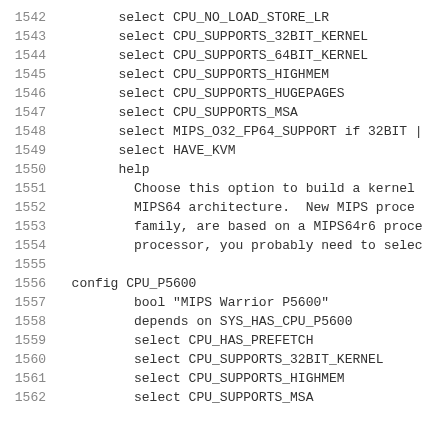1542        select CPU_NO_LOAD_STORE_LR
1543        select CPU_SUPPORTS_32BIT_KERNEL
1544        select CPU_SUPPORTS_64BIT_KERNEL
1545        select CPU_SUPPORTS_HIGHMEM
1546        select CPU_SUPPORTS_HUGEPAGES
1547        select CPU_SUPPORTS_MSA
1548        select MIPS_O32_FP64_SUPPORT if 32BIT |
1549        select HAVE_KVM
1550        help
1551          Choose this option to build a kernel
1552          MIPS64 architecture.  New MIPS proce
1553          family, are based on a MIPS64r6 proce
1554          processor, you probably need to selec
1555
1556  config CPU_P5600
1557          bool "MIPS Warrior P5600"
1558          depends on SYS_HAS_CPU_P5600
1559          select CPU_HAS_PREFETCH
1560          select CPU_SUPPORTS_32BIT_KERNEL
1561          select CPU_SUPPORTS_HIGHMEM
1562          select CPU_SUPPORTS_MSA